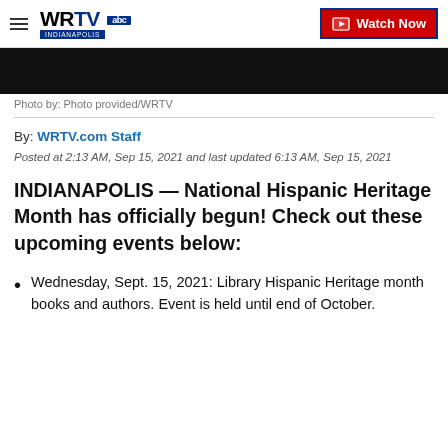WRTV INDIANAPOLIS | Watch Now
[Figure (photo): Dark/black photo strip at top of article]
Photo by: Photo provided/WRTV
By: WRTV.com Staff
Posted at 2:13 AM, Sep 15, 2021 and last updated 6:13 AM, Sep 15, 2021
INDIANAPOLIS — National Hispanic Heritage Month has officially begun! Check out these upcoming events below:
Wednesday, Sept. 15, 2021: Library Hispanic Heritage month books and authors. Event is held until end of October.